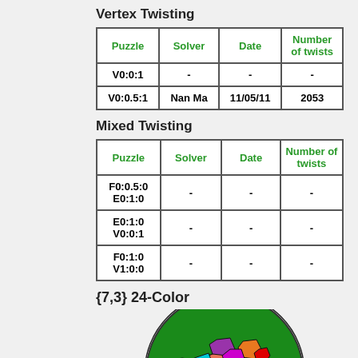Vertex Twisting
| Puzzle | Solver | Date | Number of twists |
| --- | --- | --- | --- |
| V0:0:1 | - | - | - |
| V0:0.5:1 | Nan Ma | 11/05/11 | 2053 |
Mixed Twisting
| Puzzle | Solver | Date | Number of twists |
| --- | --- | --- | --- |
| F0:0.5:0
E0:1:0 | - | - | - |
| E0:1:0
V0:0:1 | - | - | - |
| F0:1:0
V1:0:0 | - | - | - |
{7,3} 24-Color
[Figure (illustration): Colorful hyperbolic tiling puzzle {7,3} 24-Color, showing heptagonal tiles in various colors arranged in a circular Poincaré disk model]